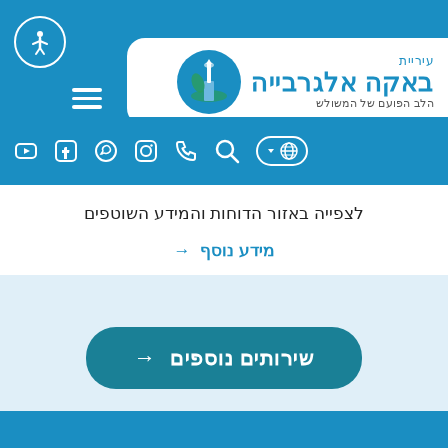עיריית באקה אלגרבייה - הלב הפועם של המשולש
לצפייה באזור הדוחות והמידע השוטפים
→ מידע נוסף
→ שירותים נוספים